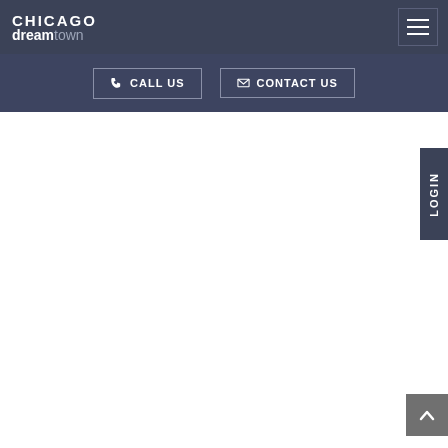CHICAGO dreamtown
[Figure (other): Hamburger menu icon button in top right of header]
[Figure (other): CALL US button with phone icon and CONTACT US button with mail icon in dark navigation bar]
[Figure (other): LOGIN vertical tab on right side of page]
[Figure (other): Scroll to top button with upward chevron arrow in bottom right]